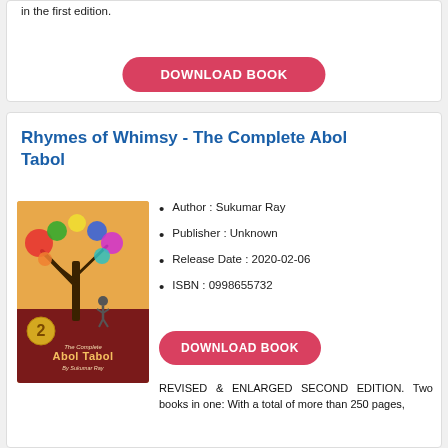in the first edition.
DOWNLOAD BOOK
Rhymes of Whimsy - The Complete Abol Tabol
[Figure (illustration): Book cover of 'Rhymes of Whimsy - The Complete Abol Tabol' by Sukumar Ray, showing a colorful tree with paint splashes and a figure, dark red lower half with title text.]
Author : Sukumar Ray
Publisher : Unknown
Release Date : 2020-02-06
ISBN : 0998655732
DOWNLOAD BOOK
REVISED & ENLARGED SECOND EDITION. Two books in one: With a total of more than 250 pages, this is a book in two parts: the first comprises the translated poems and original illustrations by Sukumar